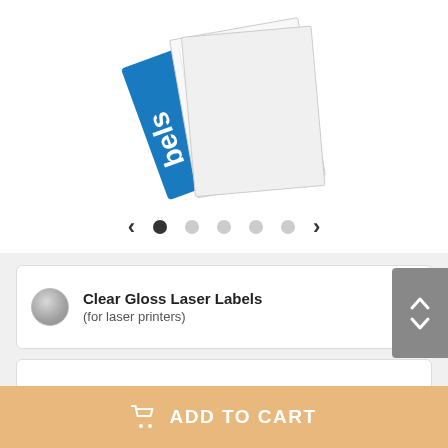[Figure (photo): Product photo of Clear Gloss Laser Labels packaging — blue label booklet with white label sheets on top, rotated at an angle. Text 'bels' visible on the blue cover.]
View detailed specs
Clear Gloss Laser Labels
(for laser printers)
Choose a quantity
ADD TO CART